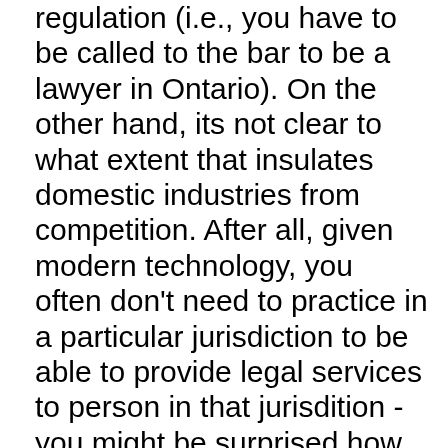regulation (i.e., you have to be called to the bar to be a lawyer in Ontario). On the other hand, its not clear to what extent that insulates domestic industries from competition. After all, given modern technology, you often don't need to practice in a particular jurisdiction to be able to provide legal services to person in that jurisdition - you might be surprised how often my US clients doing business in Canada have their US lawyers draft their legal documents, and there's an increased practice of outsourcing certain legal services to lawyers in India